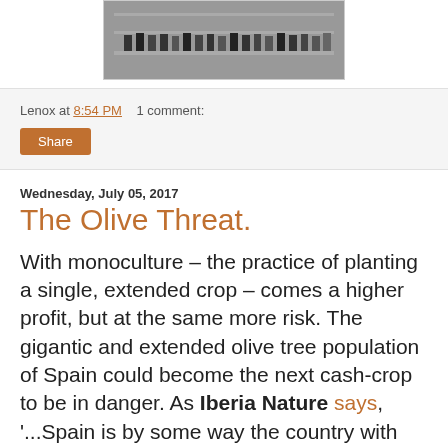[Figure (photo): A store shelf with bottles and jars of products, partially visible at the top of the page.]
Lenox at 8:54 PM    1 comment:
Share
Wednesday, July 05, 2017
The Olive Threat.
With monoculture – the practice of planting a single, extended crop – comes a higher profit, but at the same more risk. The gigantic and extended olive tree population of Spain could become the next cash-crop to be in danger. As Iberia Nature says, '...Spain is by some way the country with the highest number of olive trees (more than 300 million), in the world and is